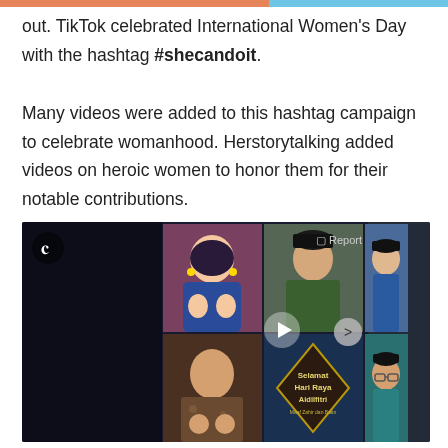out. TikTok celebrated International Women's Day with the hashtag #shecandoit. Many videos were added to this hashtag campaign to celebrate womanhood. Herstorytalking added videos on heroic women to honor them for their notable contributions.
[Figure (screenshot): A TikTok screenshot showing a grid of video thumbnails featuring people in traditional Eid/Malay attire. Includes a woman in blue batik doing a prayer gesture, a man in green baju melayu and songkok, a boy in blue baju melayu, a teenage boy in batik, a diamond-shaped 'Selamat Hari Raya Aidilfitri' graphic, and a boy with glasses in teal. TikTok logo top-left, Report button top-right, next arrow right side.]